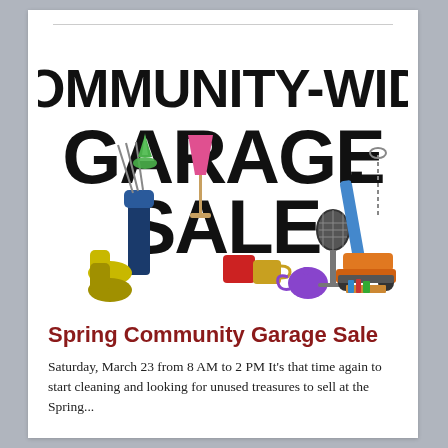[Figure (illustration): Community-Wide Garage Sale colorful clip art illustration with bold black text reading COMMUNITY-WIDE GARAGE SALE surrounded by garage sale items including golf clubs, lamp, microphone, excavator, cups, and various items]
Spring Community Garage Sale
Saturday, March 23 from 8 AM to 2 PM It's that time again to start cleaning and looking for unused treasures to sell at the Spring...